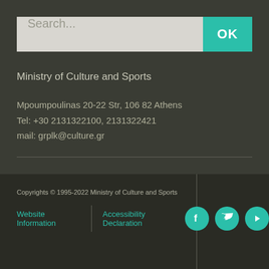Search...
Ministry of Culture and Sports
Mpoumpoulinas 20-22 Str, 106 82 Athens
Tel: +30 2131322100, 2131322421
mail: grplk@culture.gr
Copyrights © 1995-2022 Ministry of Culture and Sports
Website Information | Accessibility Declaration